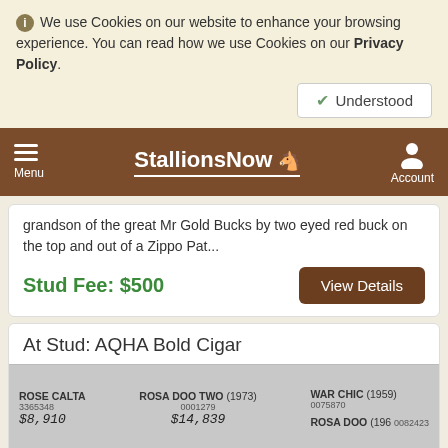ⓘ We use Cookies on our website to enhance your browsing experience. You can read how we use Cookies on our Privacy Policy.
Understood
StallionsNow — Menu | Account
grandson of the great Mr Gold Bucks by two eyed red buck on the top and out of a Zippo Pat...
Stud Fee: $500
View Details
At Stud: AQHA Bold Cigar
[Figure (other): Pedigree chart strip showing ROSE CALTA 3365348 with $8,910, ROSA DOO TWO (1973) 0001279 with $14,839, WAR CHIC (1959) 0075870, ROSA DOO (1961) 0082423]
[Figure (photo): Photo of a dark brown horse in a pasture with green trees and a white fence in the background]